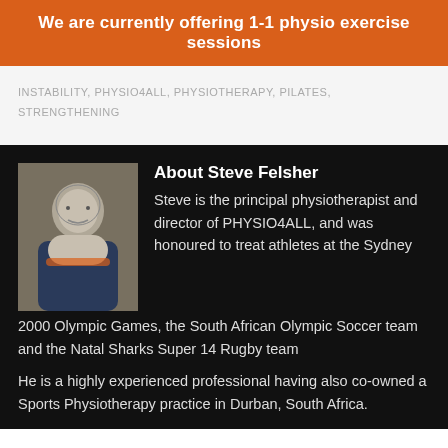We are currently offering 1-1 physio exercise sessions
INSTABILITY, PHYSIO4ALL, PHYSIOTHERAPY, PILATES, STRENGTHENING
About Steve Felsher
Steve is the principal physiotherapist and director of PHYSIO4ALL, and was honoured to treat athletes at the Sydney 2000 Olympic Games, the South African Olympic Soccer team and the Natal Sharks Super 14 Rugby team
He is a highly experienced professional having also co-owned a Sports Physiotherapy practice in Durban, South Africa.